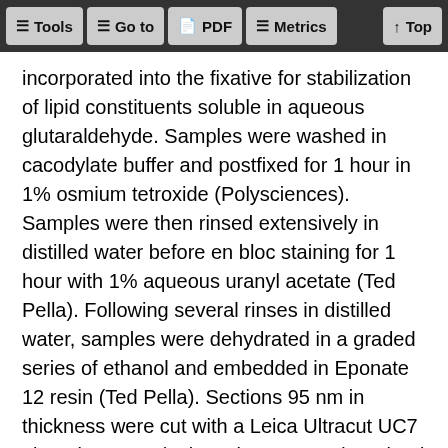Tools | Go to | PDF | Metrics | Top
incorporated into the fixative for stabilization of lipid constituents soluble in aqueous glutaraldehyde. Samples were washed in cacodylate buffer and postfixed for 1 hour in 1% osmium tetroxide (Polysciences). Samples were then rinsed extensively in distilled water before en bloc staining for 1 hour with 1% aqueous uranyl acetate (Ted Pella). Following several rinses in distilled water, samples were dehydrated in a graded series of ethanol and embedded in Eponate 12 resin (Ted Pella). Sections 95 nm in thickness were cut with a Leica Ultracut UC7 ultramicrotome (Leica Microsystems), stained with uranyl acetate and lead citrate, and viewed on a Tecnai G2 Spirit BioTWIN Transmission Electron Microscope (FEI Co.) at 60 kV.